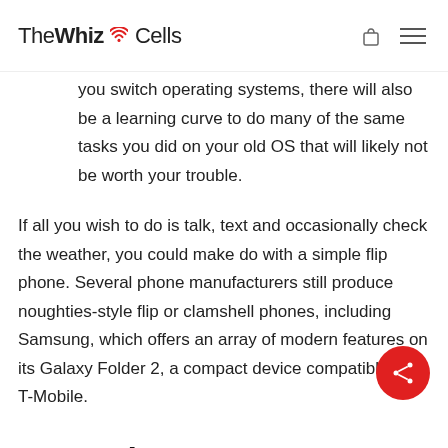The WhizCells
you switch operating systems, there will also be a learning curve to do many of the same tasks you did on your old OS that will likely not be worth your trouble.
If all you wish to do is talk, text and occasionally check the weather, you could make do with a simple flip phone. Several phone manufacturers still produce noughties-style flip or clamshell phones, including Samsung, which offers an array of modern features on its Galaxy Folder 2, a compact device compatible with T-Mobile.
Operating System